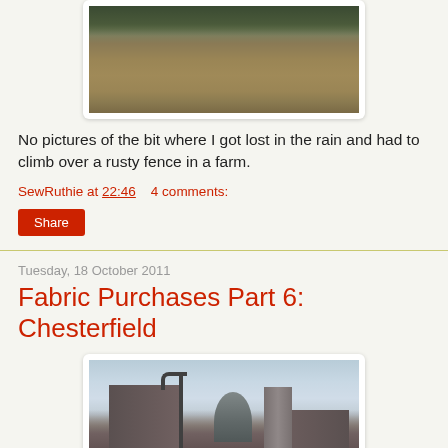[Figure (photo): Landscape photo of moorland with dark greenish-brown hills and overcast sky]
No pictures of the bit where I got lost in the rain and had to climb over a rusty fence in a farm.
SewRuthie at 22:46    4 comments:
Share
Tuesday, 18 October 2011
Fabric Purchases Part 6: Chesterfield
[Figure (photo): Photo of Chesterfield town centre with church tower, dome building, and lamppost against cloudy sky]